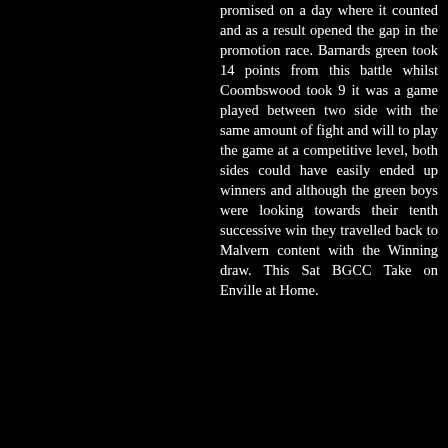promised on a day where it counted and as a result opened the gap in the promotion race. Barnards green took 14 points from this battle whilst Coombswood took 9 it was a game played between two side with the same amount of fight and will to play the game at a competitive level, both sides could have easily ended up winners and although the green boys were looking towards their tenth successive win they travelled back to Malvern content with the Winning draw. This Sat BGCC Take on Enville at Home.